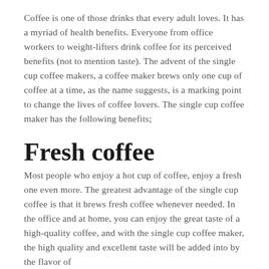Coffee is one of those drinks that every adult loves. It has a myriad of health benefits. Everyone from office workers to weight-lifters drink coffee for its perceived benefits (not to mention taste). The advent of the single cup coffee makers, a coffee maker brews only one cup of coffee at a time, as the name suggests, is a marking point to change the lives of coffee lovers. The single cup coffee maker has the following benefits;
Fresh coffee
Most people who enjoy a hot cup of coffee, enjoy a fresh one even more. The greatest advantage of the single cup coffee is that it brews fresh coffee whenever needed. In the office and at home, you can enjoy the great taste of a high-quality coffee, and with the single cup coffee maker, the high quality and excellent taste will be added into by the flavor of